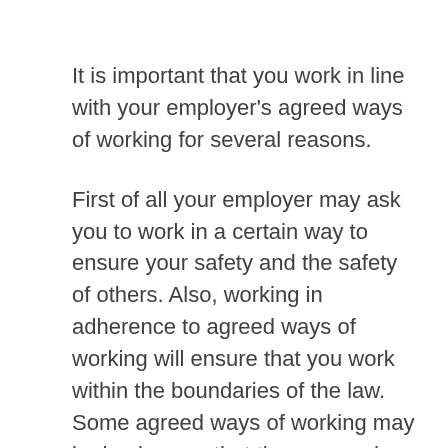It is important that you work in line with your employer's agreed ways of working for several reasons.
First of all your employer may ask you to work in a certain way to ensure your safety and the safety of others. Also, working in adherence to agreed ways of working will ensure that you work within the boundaries of the law. Some agreed ways of working may be in place so that the care and support you provide meets the individual's needs and preferences or upholds their